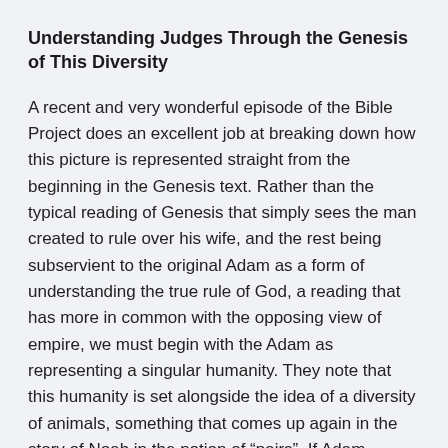Understanding Judges Through the Genesis of This Diversity
A recent and very wonderful episode of the Bible Project does an excellent job at breaking down how this picture is represented straight from the beginning in the Genesis text. Rather than the typical reading of Genesis that simply sees the man created to rule over his wife, and the rest being subservient to the original Adam as a form of understanding the true rule of God, a reading that has more in common with the opposing view of empire, we must begin with the Adam as representing a singular humanity. They note that this humanity is set alongside the idea of a diversity of animals, something that comes up again in the story of Noah in the notion of “pairs”. If Adam (humanity) is